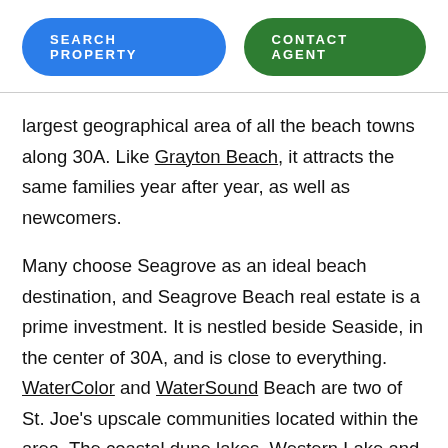SEARCH PROPERTY | CONTACT AGENT
largest geographical area of all the beach towns along 30A. Like Grayton Beach, it attracts the same families year after year, as well as newcomers.
Many choose Seagrove as an ideal beach destination, and Seagrove Beach real estate is a prime investment. It is nestled beside Seaside, in the center of 30A, and is close to everything. WaterColor and WaterSound Beach are two of St. Joe’s upscale communities located within the area. The coastal dune lakes, Western Lake and Eastern Lake, are beautiful, natural landmarks within the area.